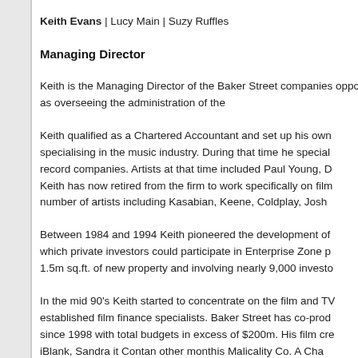Keith Evans | Lucy Main | Suzy Ruffles
Managing Director
Keith is the Managing Director of the Baker Street companies opportunities as well as overseeing the administration of the
Keith qualified as a Chartered Accountant and set up his own specialising in the music industry. During that time he special record companies. Artists at that time included Paul Young, D Keith has now retired from the firm to work specifically on film number of artists including Kasabian, Keene, Coldplay, Josh
Between 1984 and 1994 Keith pioneered the development of which private investors could participate in Enterprise Zone p 1.5m sq.ft. of new property and involving nearly 9,000 investo
In the mid 90's Keith started to concentrate on the film and TV established film finance specialists. Baker Street has co-prod since 1998 with total budgets in excess of $200m. His film cre iBlank, Sandra it Contan other monthis Malicality Co. A Cha